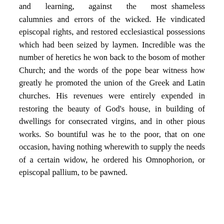and learning, against the most shameless calumnies and errors of the wicked. He vindicated episcopal rights, and restored ecclesiastical possessions which had been seized by laymen. Incredible was the number of heretics he won back to the bosom of mother Church; and the words of the pope bear witness how greatly he promoted the union of the Greek and Latin churches. His revenues were entirely expended in restoring the beauty of God's house, in building of dwellings for consecrated virgins, and in other pious works. So bountiful was he to the poor, that on one occasion, having nothing wherewith to supply the needs of a certain widow, he ordered his Omnophorion, or episcopal pallium, to be pawned.